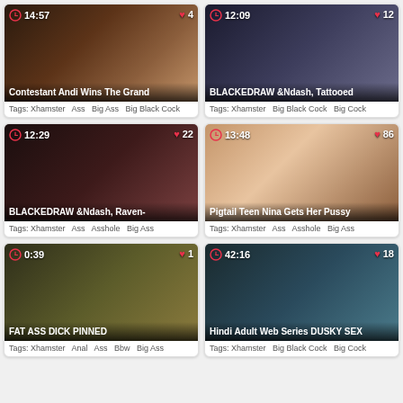[Figure (screenshot): Video thumbnail grid showing adult video content listings with titles, durations, like counts, and tags]
Contestant Andi Wins The Grand
Tags: Xhamster  Ass  Big Ass  Big Black Cock
BLACKEDRAW &Ndash, Tattooed
Tags: Xhamster  Big Black Cock  Big Cock
BLACKEDRAW &Ndash, Raven-
Tags: Xhamster  Ass  Asshole  Big Ass
Pigtail Teen Nina Gets Her Pussy
Tags: Xhamster  Ass  Asshole  Big Ass
FAT ASS DICK PINNED
Tags: Xhamster  Anal  Ass  Bbw  Big Ass
Hindi Adult Web Series DUSKY SEX
Tags: Xhamster  Big Black Cock  Big Cock